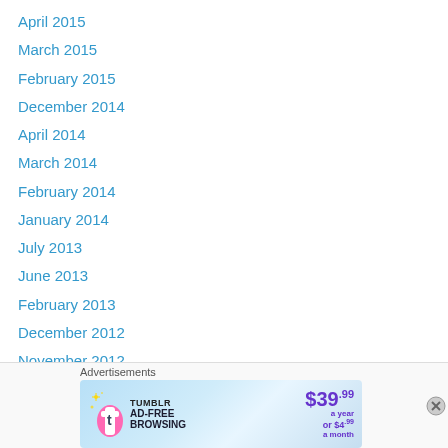April 2015
March 2015
February 2015
December 2014
April 2014
March 2014
February 2014
January 2014
July 2013
June 2013
February 2013
December 2012
November 2012
October 2012
September 2012
August 2012
[Figure (screenshot): Tumblr Ad-Free Browsing advertisement banner: $39.99 a year or $4.99 a month]